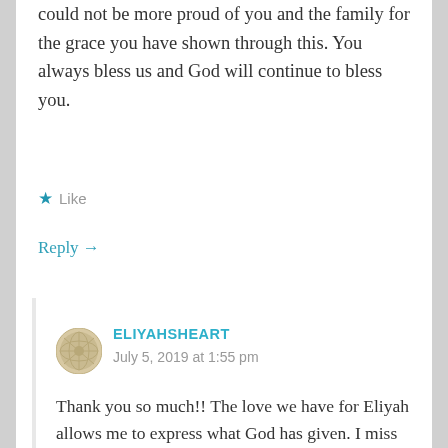could not be more proud of you and the family for the grace you have shown through this. You always bless us and God will continue to bless you.
★ Like
Reply →
ELIYAHSHEART
July 5, 2019 at 1:55 pm
Thank you so much!! The love we have for Eliyah allows me to express what God has given. I miss him terribly, and wish he was still here with us physically. I share as part of my healing , but also know many people who share in this grief that I pray God carries them through too.